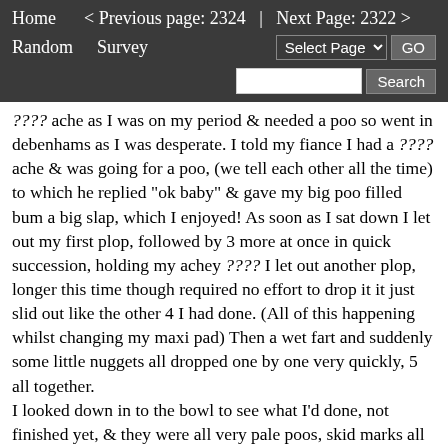Home   < Previous page: 2324  |  Next Page: 2322 >   Random   Survey   Select Page  GO   Search
???? ache as I was on my period & needed a poo so went in debenhams as I was desperate. I told my fiance I had a ???? ache & was going for a poo, (we tell each other all the time) to which he replied "ok baby" & gave my big poo filled bum a big slap, which I enjoyed! As soon as I sat down I let out my first plop, followed by 3 more at once in quick succession, holding my achey ???? I let out another plop, longer this time though required no effort to drop it it just slid out like the other 4 I had done. (All of this happening whilst changing my maxi pad) Then a wet fart and suddenly some little nuggets all dropped one by one very quickly, 5 all together.
I looked down in to the bowl to see what I'd done, not finished yet, & they were all very pale poos, skid marks all over the pan, but I hadn't finished yet. My ???? cramped again as I sat back down had another wet fart and let out 3 slimy pale big plops again in quick succession, by now the toilet stank and the water was almost gone with all my plops covering it. I texted my